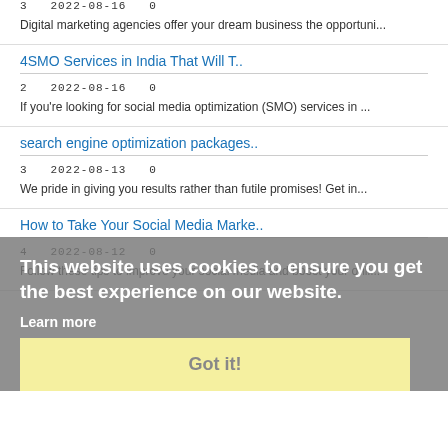3   2022-08-16   0
Digital marketing agencies offer your dream business the opportuni...
4SMO Services in India That Will T..
2   2022-08-16   0
If you're looking for social media optimization (SMO) services in ...
search engine optimization packages..
3   2022-08-13   0
We pride in giving you results rather than futile promises! Get in...
How to Take Your Social Media Marke..
4   2022-08-12   0
Follow these tips to improve your social media and boost your onli...
This website uses cookies to ensure you get the best experience on our website.
Learn more
Got it!